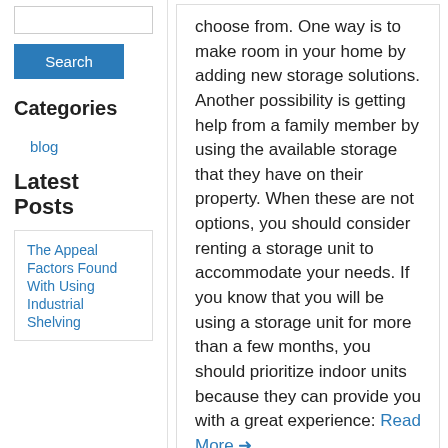[Figure (other): Search input box (empty)]
Search
Categories
blog
Latest Posts
The Appeal Factors Found With Using Industrial Shelving
choose from. One way is to make room in your home by adding new storage solutions. Another possibility is getting help from a family member by using the available storage that they have on their property. When these are not options, you should consider renting a storage unit to accommodate your needs. If you know that you will be using a storage unit for more than a few months, you should prioritize indoor units because they can provide you with a great experience: Read More →
3 Keys For Your Self